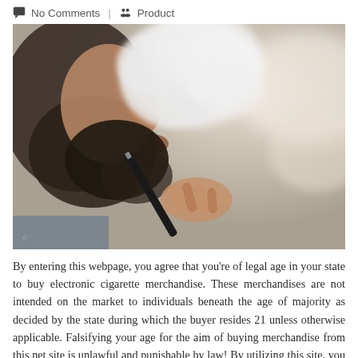💬 No Comments | 👥 Product
[Figure (photo): Close-up photo of a bearded man vaping/smoking an electronic cigarette, exhaling a large cloud of vapor/smoke. The image is in color with a blurred background.]
By entering this webpage, you agree that you're of legal age in your state to buy electronic cigarette merchandise. These merchandises are not intended on the market to individuals beneath the age of majority as decided by the state during which the buyer resides 21 unless otherwise applicable. Falsifying your age for the aim of buying merchandise from this net site is unlawful and punishable by law! By utilizing this site, you agree